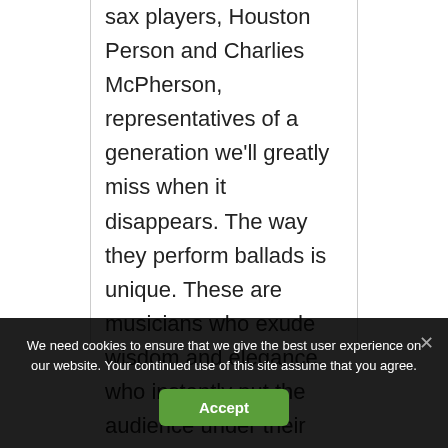sax players, Houston Person and Charlies McPherson, representatives of a generation we'll greatly miss when it disappears. The way they perform ballads is unique. These are musicians who exude wisdom and elegance, who instantly put the audience under their spell. Completing the perfect
We need cookies to ensure that we give the best user experience on our website. Your continued use of this site assume that you agree.